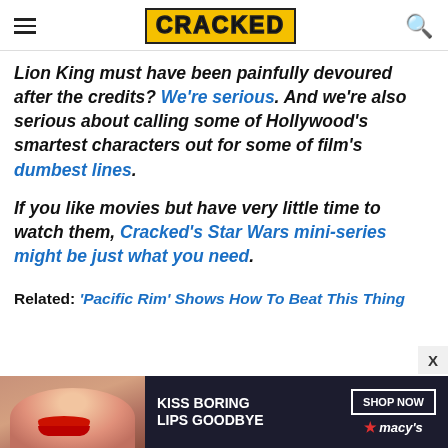CRACKED
Lion King must have been painfully devoured after the credits? We're serious. And we're also serious about calling some of Hollywood's smartest characters out for some of film's dumbest lines.
If you like movies but have very little time to watch them, Cracked's Star Wars mini-series might be just what you need.
Related: 'Pacific Rim' Shows How To Beat This Thing
[Figure (advertisement): Macy's advertisement: 'Kiss Boring Lips Goodbye' with Shop Now button and Macy's logo, featuring a close-up of a woman's face with red lips.]